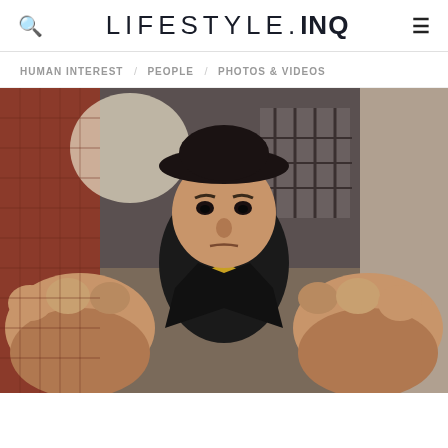LIFESTYLE.INQ
HUMAN INTEREST / PEOPLE / PHOTOS & VIDEOS
[Figure (photo): A man wearing a black bowler hat and dark jacket with yellow shirt, extending both fists toward the camera in an urban alley setting with brick walls and barred windows in the background.]